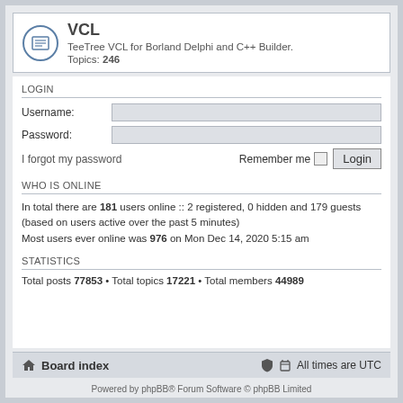VCL
TeeTree VCL for Borland Delphi and C++ Builder. Topics: 246
LOGIN
Username:
Password:
I forgot my password    Remember me  Login
WHO IS ONLINE
In total there are 181 users online :: 2 registered, 0 hidden and 179 guests (based on users active over the past 5 minutes)
Most users ever online was 976 on Mon Dec 14, 2020 5:15 am
STATISTICS
Total posts 77853 • Total topics 17221 • Total members 44989
Board index   All times are UTC
Powered by phpBB® Forum Software © phpBB Limited